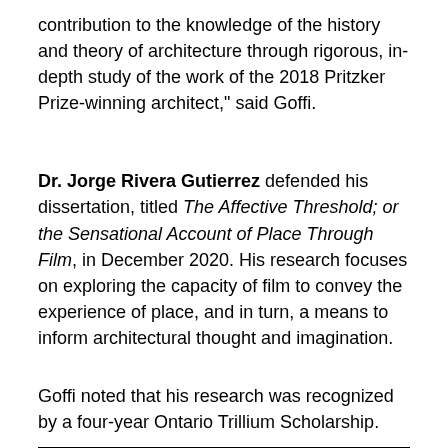contribution to the knowledge of the history and theory of architecture through rigorous, in-depth study of the work of the 2018 Pritzker Prize-winning architect," said Goffi.
Dr. Jorge Rivera Gutierrez defended his dissertation, titled The Affective Threshold; or the Sensational Account of Place Through Film, in December 2020. His research focuses on exploring the capacity of film to convey the experience of place, and in turn, a means to inform architectural thought and imagination.
Goffi noted that his research was recognized by a four-year Ontario Trillium Scholarship.